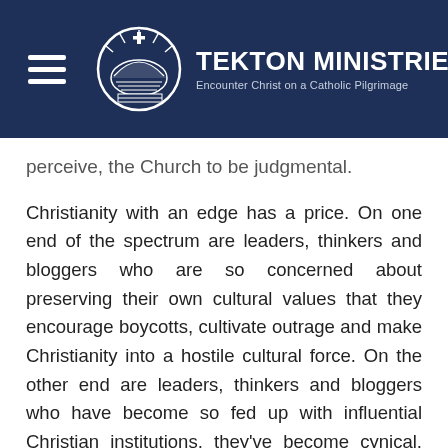[Figure (logo): Tekton Ministries logo with hamburger menu icon, circular church dome icon, organization name 'TEKTON MINISTRIES' and tagline 'Encounter Christ on a Catholic Pilgrimage' on dark navy background]
perceive, the Church to be judgmental.
Christianity with an edge has a price. On one end of the spectrum are leaders, thinkers and bloggers who are so concerned about preserving their own cultural values that they encourage boycotts, cultivate outrage and make Christianity into a hostile cultural force. On the other end are leaders, thinkers and bloggers who have become so fed up with influential Christian institutions, they've become cynical, jaded and outraged—albeit for different reasons.